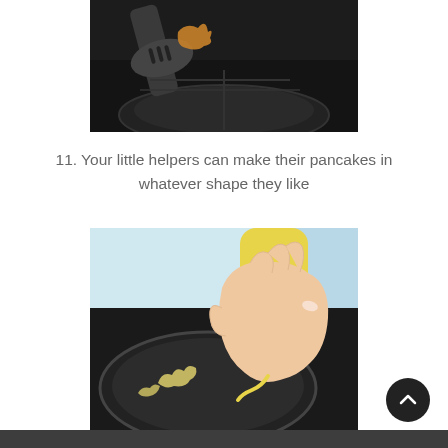[Figure (photo): A black non-stick frying pan on a stove with a spatula lifting a small pancake cooked in an animal or decorative shape.]
11. Your little helpers can make their pancakes in whatever shape they like
[Figure (photo): A child's hand squeezing yellow pancake batter from a squeeze bottle into a black non-stick frying pan, creating letter or animal shapes.]